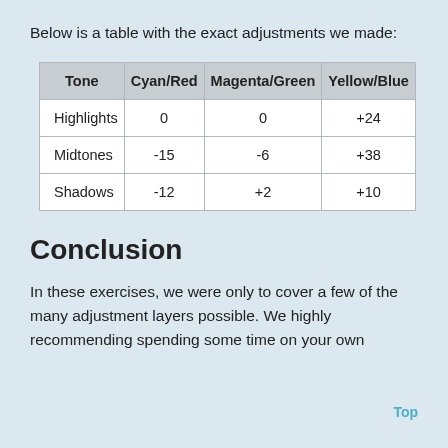Below is a table with the exact adjustments we made:
| Tone | Cyan/Red | Magenta/Green | Yellow/Blue |
| --- | --- | --- | --- |
| Highlights | 0 | 0 | +24 |
| Midtones | -15 | -6 | +38 |
| Shadows | -12 | +2 | +10 |
Conclusion
In these exercises, we were only to cover a few of the many adjustment layers possible. We highly recommending spending some time on your own